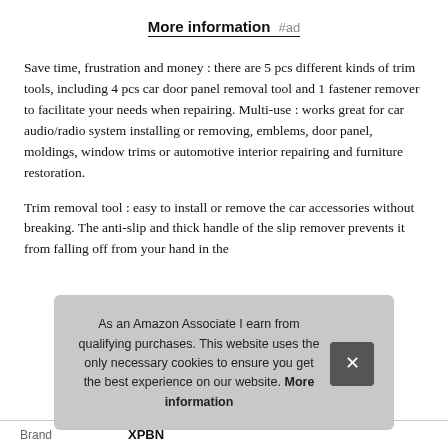More information #ad
Save time, frustration and money : there are 5 pcs different kinds of trim tools, including 4 pcs car door panel removal tool and 1 fastener remover to facilitate your needs when repairing. Multi-use : works great for car audio/radio system installing or removing, emblems, door panel, moldings, window trims or automotive interior repairing and furniture restoration.
Trim removal tool : easy to install or remove the car accessories without breaking. The anti-slip and thick handle of the slip remover prevents it from falling off from your hand in the [partially obscured] with [partially obscured] your [partially obscured]
As an Amazon Associate I earn from qualifying purchases. This website uses the only necessary cookies to ensure you get the best experience on our website. More information
| Brand |  |
| --- | --- |
| Brand | XPBN |